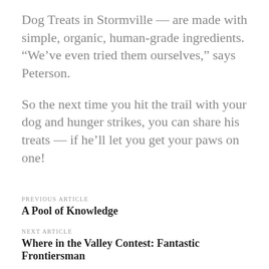Dog Treats in Stormville — are made with simple, organic, human-grade ingredients. “We’ve even tried them ourselves,” says Peterson.
So the next time you hit the trail with your dog and hunger strikes, you can share his treats — if he’ll let you get your paws on one!
PREVIOUS ARTICLE
A Pool of Knowledge
NEXT ARTICLE
Where in the Valley Contest: Fantastic Frontiersman